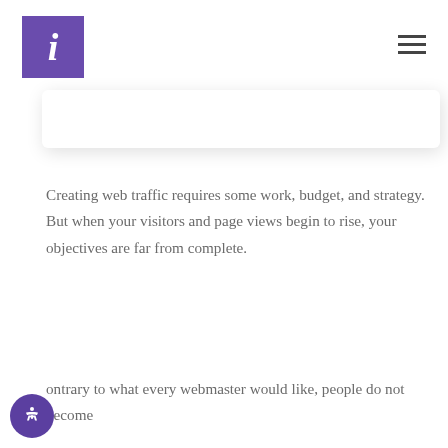i [logo] [hamburger menu]
[Figure (other): White card/panel with drop shadow, partially visible]
Creating web traffic requires some work, budget, and strategy. But when your visitors and page views begin to rise, your objectives are far from complete.
ontrary to what every webmaster would like, people do not become